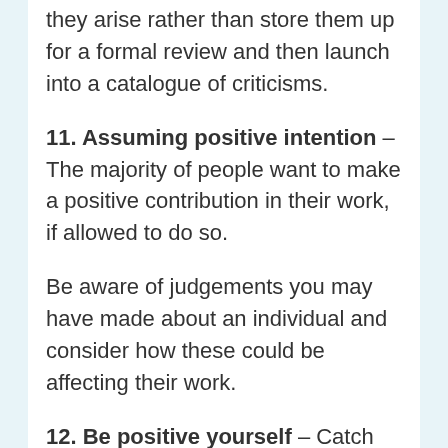they arise rather than store them up for a formal review and then launch into a catalogue of criticisms.
11. Assuming positive intention – The majority of people want to make a positive contribution in their work, if allowed to do so.
Be aware of judgements you may have made about an individual and consider how these could be affecting their work.
12. Be positive yourself – Catch people “doing things right” and give praise when it’s due. Be prepared to challenge and criticize constructively.